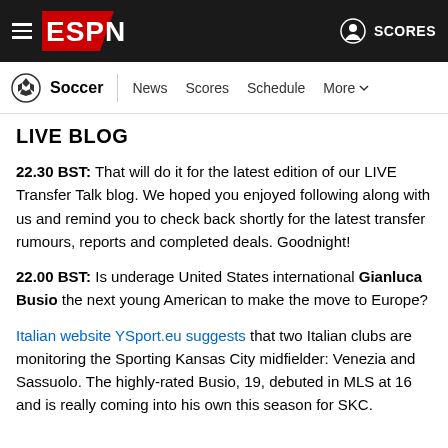ESPN Soccer — News | Scores | Schedule | More | SCORES
LIVE BLOG
22.30 BST: That will do it for the latest edition of our LIVE Transfer Talk blog. We hoped you enjoyed following along with us and remind you to check back shortly for the latest transfer rumours, reports and completed deals. Goodnight!
22.00 BST: Is underage United States international Gianluca Busio the next young American to make the move to Europe?
Italian website YSport.eu suggests that two Italian clubs are monitoring the Sporting Kansas City midfielder: Venezia and Sassuolo. The highly-rated Busio, 19, debuted in MLS at 16 and is really coming into his own this season for SKC.